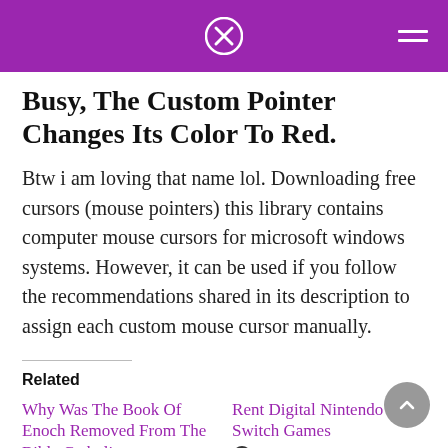Busy, The Custom Pointer Changes Its Color To Red.
Btw i am loving that name lol. Downloading free cursors (mouse pointers) this library contains computer mouse cursors for microsoft windows systems. However, it can be used if you follow the recommendations shared in its description to assign each custom mouse cursor manually.
Related
Why Was The Book Of Enoch Removed From The Bible Catholic
Rent Digital Nintendo Switch Games October 29, 2021